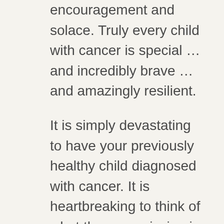encouragement and solace. Truly every child with cancer is special … and incredibly brave … and amazingly resilient.
It is simply devastating to have your previously healthy child diagnosed with cancer. It is heartbreaking to think of what they are missing in the outside world while in hospital. It is gut-wrenching to watch them bravely weather the barrage of treatments that will, with luck, eventually cure them. And it is desperately, desperately sad to acknowledge that, in a few cases, there will be no cure.
The medical care here in Japan is unquestionably of the highest quality. However, because of Japan's risk-minimizing policy of keeping patients in hospital for most of the duration of their treatment, you could be looking at a nine-month to one year (nearly two in our case) hospital stay…